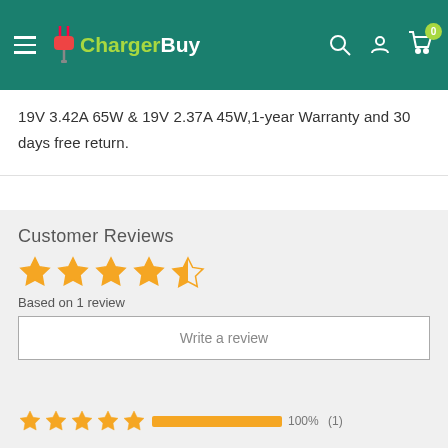ChargerBuy — navigation header with hamburger menu, logo, search, account, and cart icons
19V 3.42A 65W & 19V 2.37A 45W,1-year Warranty and 30 days free return.
Customer Reviews
Based on 1 review
Write a review
| Stars | Bar | Percent | Count |
| --- | --- | --- | --- |
| 5 stars | filled 100% | 100% | (1) |
| 4 stars | empty | 0% | (0) |
| 3 stars | empty | 0% | (0) |
| 2 stars | empty | 0% | (0) |
| 1 star | empty | 0% | (0) |